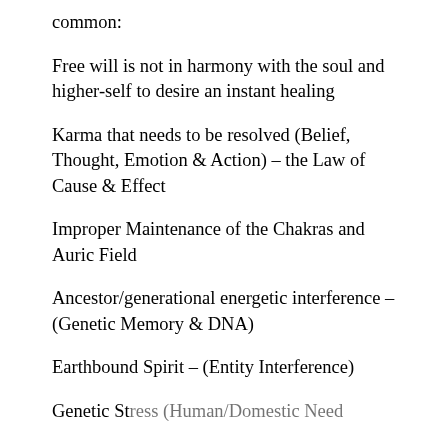common:
Free will is not in harmony with the soul and higher-self to desire an instant healing
Karma that needs to be resolved (Belief, Thought, Emotion & Action) – the Law of Cause & Effect
Improper Maintenance of the Chakras and Auric Field
Ancestor/generational energetic interference – (Genetic Memory & DNA)
Earthbound Spirit – (Entity Interference)
Genetic Stress (Human/Domestic Need...